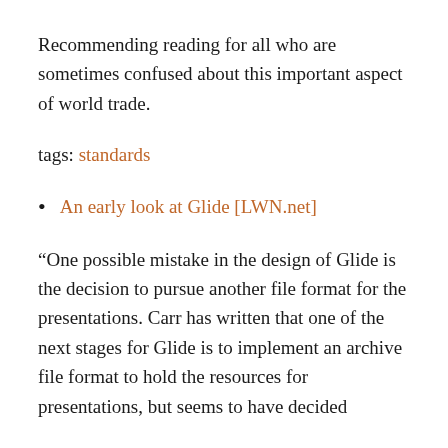Recommending reading for all who are sometimes confused about this important aspect of world trade.
tags: standards
An early look at Glide [LWN.net]
“One possible mistake in the design of Glide is the decision to pursue another file format for the presentations. Carr has written that one of the next stages for Glide is to implement an archive file format to hold the resources for presentations, but seems to have decided